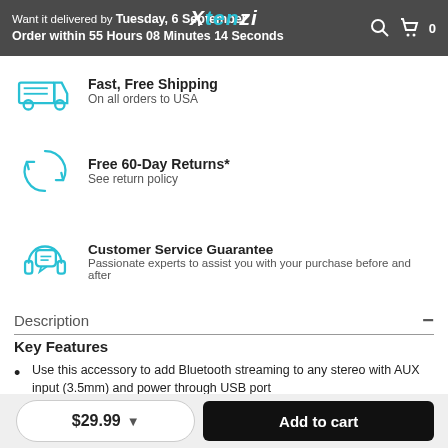Want it delivered by Tuesday, 6 September
Order within 55 Hours 08 Minutes 14 Seconds
[Figure (logo): Xtenzi logo in white italic text with teal accent]
Fast, Free Shipping
On all orders to USA
Free 60-Day Returns*
See return policy
Customer Service Guarantee
Passionate experts to assist you with your purchase before and after
Description
Key Features
Use this accessory to add Bluetooth streaming to any stereo with AUX input (3.5mm) and power through USB port
Receives wireless signals from any Bluetooth compatible
$29.99
Add to cart